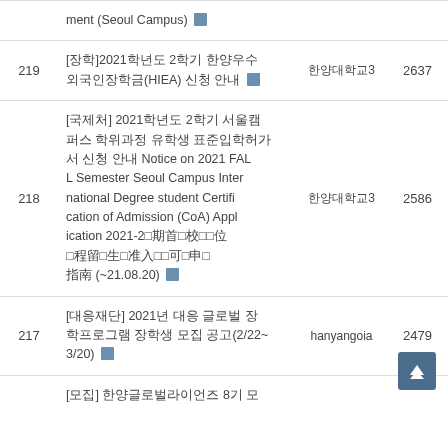| No | Title | Author | Views |
| --- | --- | --- | --- |
|  | ment (Seoul Campus) 📎 |  |  |
| 219 | [장학]2021학년도 2학기 한양우수외국인장학금(HIEA) 신청 안내 📎 | 한양대학교3 | 2637 |
| 218 | [국제처] 2021학년도 2학기 서울캠퍼스 학위과정 유학생 표준입학허가서 신청 안내 Notice on 2021 FALL Semester Seoul Campus International Degree student Certification of Admission (CoA) Application 2021-2期首校位程留生准入可申指南 (~21.08.20) 📎 | 한양대학교3 | 2586 |
| 217 | [대응재단] 2021년 대응 글로벌 장학프로그램 장학생 모집 공고(2/22~3/20) 📎 | hanyangoia | 2479 |
|  | [모집] 한양글로벌라이언즈 8기 모 |  |  |